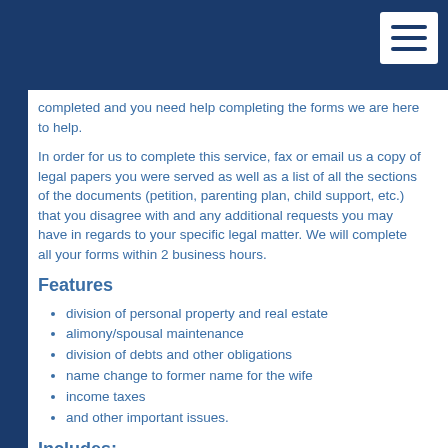completed and you need help completing the forms we are here to help.
In order for us to complete this service, fax or email us a copy of legal papers you were served as well as a list of all the sections of the documents (petition, parenting plan, child support, etc.) that you disagree with and any additional requests you may have in regards to your specific legal matter. We will complete all your forms within 2 business hours.
Features
division of personal property and real estate
alimony/spousal maintenance
division of debts and other obligations
name change to former name for the wife
income taxes
and other important issues.
Includes: